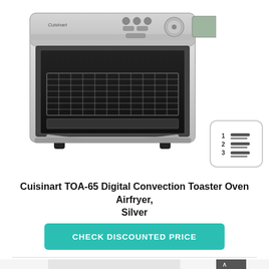[Figure (photo): Cuisinart TOA-65 Digital Convection Toaster Oven Airfryer in silver stainless steel finish, front view showing open door with wire rack inside, digital controls and knob on top]
[Figure (illustration): Numbered list icon with lines 1, 2, 3 in a rounded rectangle border]
Cuisinart TOA-65 Digital Convection Toaster Oven Airfryer, Silver
CHECK DISCOUNTED PRICE
[Figure (photo): Bottom portion of another product image partially visible at the bottom of the page]